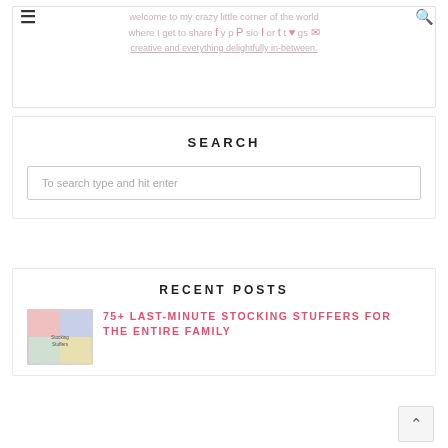welcome to my crazy little corner of the world where I get to share my passions or thoughts creative and everything delightfully in-between.
SEARCH
To search type and hit enter
RECENT POSTS
75+ LAST-MINUTE STOCKING STUFFERS FOR THE ENTIRE FAMILY